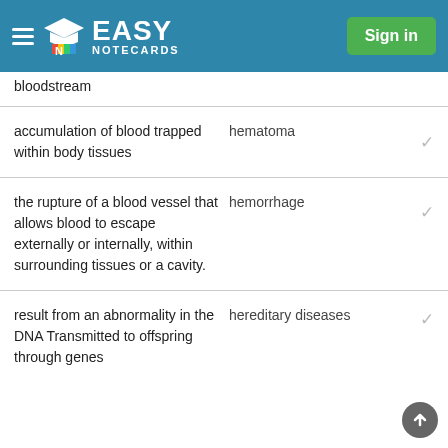Easy Notecards — Sign in
bloodstream
| Definition | Term |  |
| --- | --- | --- |
| accumulation of blood trapped within body tissues | hematoma | ✓ |
| the rupture of a blood vessel that allows blood to escape externally or internally, within surrounding tissues or a cavity. | hemorrhage | ✓ |
| result from an abnormality in the DNA Transmitted to offspring through genes | hereditary diseases | ✓ |